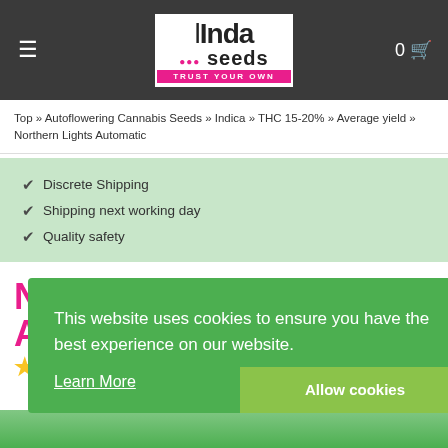Linda Seeds — TRUST YOUR OWN
Top » Autoflowering Cannabis Seeds » Indica » THC 15-20% » Average yield » Northern Lights Automatic
Discrete Shipping
Shipping next working day
Quality safety
NORTHERN LIGHTS AUTOMATIC STRAIN
This website uses cookies to ensure you have the best experience on our website. Learn More Allow cookies